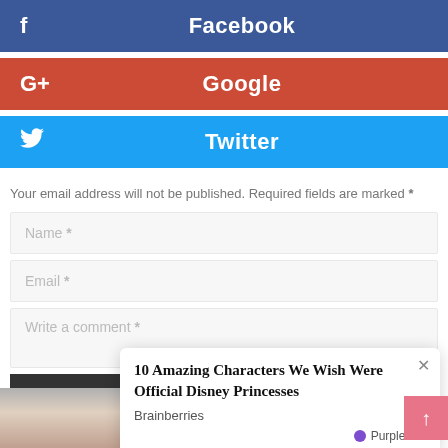Facebook
Google
Twitter
Your email address will not be published. Required fields are marked *
Name *
Email *
Write a comment *
POST
10 Amazing Characters We Wish Were Official Disney Princesses
Brainberries
PurpleAds